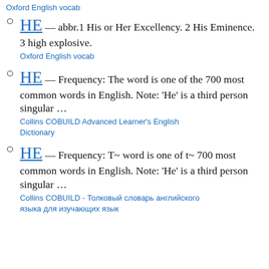Oxford English vocab
HE — abbr.1 His or Her Excellency. 2 His Eminence. 3 high explosive.
Oxford English vocab
HE — Frequency: The word is one of the 700 most common words in English. Note: 'He' is a third person singular …
Collins COBUILD Advanced Learner's English Dictionary
HE — Frequency: T~ word is one of t~ 700 most common words in English. Note: 'He' is a third person singular …
Collins COBUILD - Толковый словарь английского языка для изучающих язык